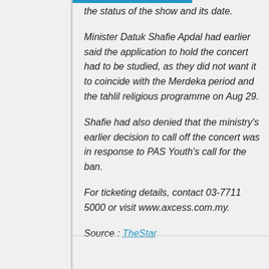the status of the show and its date.
Minister Datuk Shafie Apdal had earlier said the application to hold the concert had to be studied, as they did not want it to coincide with the Merdeka period and the tahlil religious programme on Aug 29.
Shafie had also denied that the ministry's earlier decision to call off the concert was in response to PAS Youth's call for the ban.
For ticketing details, contact 03-7711 5000 or visit www.axcess.com.my.
Source : TheStar